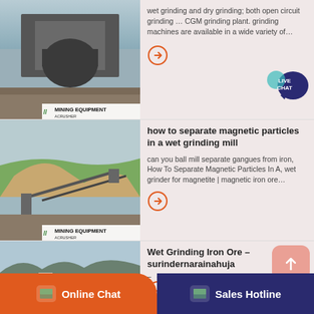[Figure (photo): Mining equipment facility with industrial structure, labeled MINING EQUIPMENT ACRUSHER]
wet grinding and dry grinding; both open circuit grinding … CGM grinding plant. grinding machines are available in a wide variety of…
[Figure (other): Orange circle arrow button]
[Figure (other): Live Chat speech bubble button, dark blue]
[Figure (photo): Mining equipment quarry site with conveyors, labeled MINING EQUIPMENT ACRUSHER]
how to separate magnetic particles in a wet grinding mill
can you ball mill separate gangues from iron, How To Separate Magnetic Particles In A, wet grinder for magnetite | magnetic iron ore…
[Figure (other): Orange circle arrow button]
[Figure (photo): Large mining processing plant with machinery and mountains in background, labeled MINING EQUIPMENT ACRUSHER]
Wet Grinding Iron Ore – surindernarainahuja
Patent US3672579 – Process for beneficiating magnetite iron ore . low-grade magnetite–containing iron ore with minimum fine grinding…
[Figure (other): Orange circle arrow button]
[Figure (other): Scroll up arrow button, salmon/coral color]
Online Chat
Sales Hotline